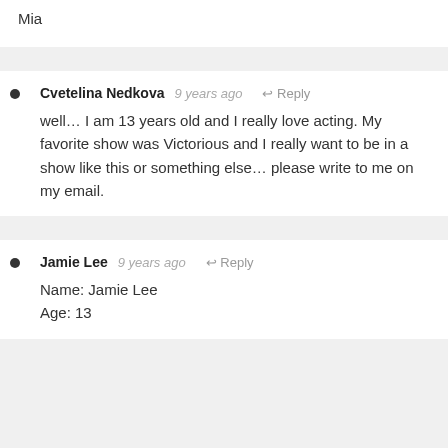Mia
Cvetelina Nedkova  9 years ago   Reply
well... I am 13 years old and I really love acting. My favorite show was Victorious and I really want to be in a show like this or something else... please write to me on my email.
Jamie Lee  9 years ago   Reply
Name: Jamie Lee
Age: 13